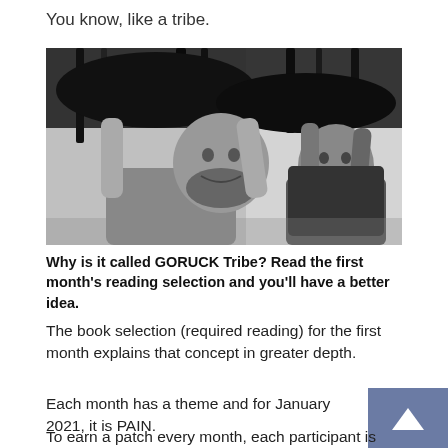You know, like a tribe.
[Figure (photo): Black and white photo of two men holding heavy sandbags overhead, appearing to be in a GORUCK training event. The man in front has a beard and is smiling, wearing a gray t-shirt. The man behind him wears a black jacket.]
Why is it called GORUCK Tribe? Read the first month's reading selection and you'll have a better idea.
The book selection (required reading) for the first month explains that concept in greater depth.
Each month has a theme and for January 2021, it is PAIN.
To earn a patch every month, each participant is expected to